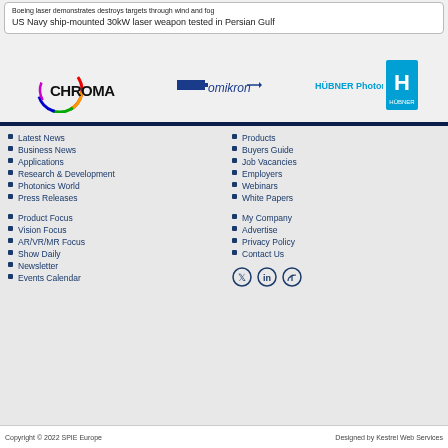Boeing laser demonstrates destroys targets through wind and fog
US Navy ship-mounted 30kW laser weapon tested in Persian Gulf
[Figure (logo): Chroma logo with rainbow swirl]
[Figure (logo): Omicron logo with arrow]
[Figure (logo): HÜBNER Photonics logo with H mark]
Latest News
Business News
Applications
Research & Development
Photonics World
Press Releases
Product Focus
Vision Focus
AR/VR/MR Focus
Show Daily
Newsletter
Events Calendar
Products
Buyers Guide
Job Vacancies
Employers
Webinars
White Papers
My Company
Advertise
Privacy Policy
Contact Us
Copyright © 2022 SPIE Europe    Designed by Kestrel Web Services